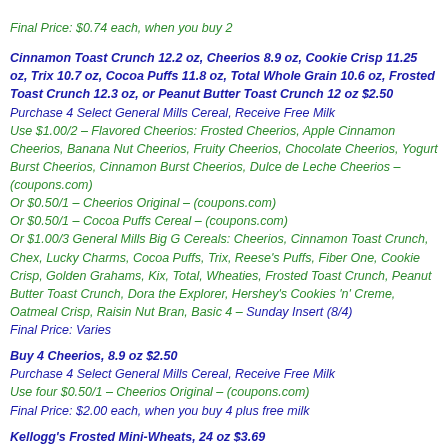Final Price: $0.74 each, when you buy 2
Cinnamon Toast Crunch 12.2 oz, Cheerios 8.9 oz, Cookie Crisp 11.25 oz, Trix 10.7 oz, Cocoa Puffs 11.8 oz, Total Whole Grain 10.6 oz, Frosted Toast Crunch 12.3 oz, or Peanut Butter Toast Crunch 12 oz $2.50
Purchase 4 Select General Mills Cereal, Receive Free Milk
Use $1.00/2 – Flavored Cheerios: Frosted Cheerios, Apple Cinnamon Cheerios, Banana Nut Cheerios, Fruity Cheerios, Chocolate Cheerios, Yogurt Burst Cheerios, Cinnamon Burst Cheerios, Dulce de Leche Cheerios – (coupons.com)
Or $0.50/1 – Cheerios Original – (coupons.com)
Or $0.50/1 – Cocoa Puffs Cereal – (coupons.com)
Or $1.00/3 General Mills Big G Cereals: Cheerios, Cinnamon Toast Crunch, Chex, Lucky Charms, Cocoa Puffs, Trix, Reese's Puffs, Fiber One, Cookie Crisp, Golden Grahams, Kix, Total, Wheaties, Frosted Toast Crunch, Peanut Butter Toast Crunch, Dora the Explorer, Hershey's Cookies 'n' Creme, Oatmeal Crisp, Raisin Nut Bran, Basic 4 – Sunday Insert (8/4)
Final Price: Varies
Buy 4 Cheerios, 8.9 oz $2.50
Purchase 4 Select General Mills Cereal, Receive Free Milk
Use four $0.50/1 – Cheerios Original – (coupons.com)
Final Price: $2.00 each, when you buy 4 plus free milk
Kellogg's Frosted Mini-Wheats, 24 oz $3.69
Use $1.00/2 – Kellogg's Frosted Mini-Wheats and/or Frosted Mini-Wheats Crunch Cereal, 14 oz or larger – (redplum.com)
Or $1.00/2 Kellogg's Mini-Wheats or Frosted Mini-Wheats Crunch Cereals, 14 oz or larger – Sunday Insert (7/28)
Final Price: $3.19 each, when you buy 2